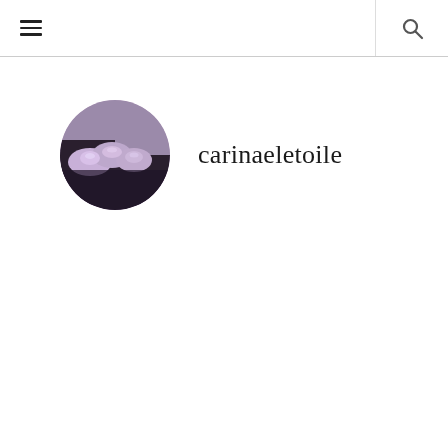☰  🔍
[Figure (photo): Circular avatar photo showing a close-up of glittery/shimmery purple nail polish on fingers with dark lace fabric in background]
carinaeletoile